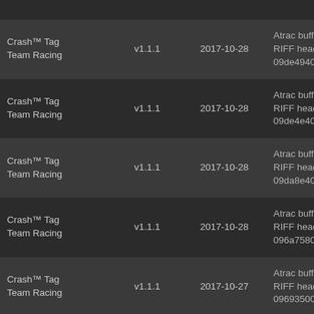| Name | Version | Date | Error |
| --- | --- | --- | --- |
|  |  |  | 09527540 |
| Crash™ Tag Team Racing | v1.1.1 | 2017-10-28 | Atrac buffer invalid RIFF header: 09de4940 |
| Crash™ Tag Team Racing | v1.1.1 | 2017-10-28 | Atrac buffer invalid RIFF header: 09de4e40 |
| Crash™ Tag Team Racing | v1.1.1 | 2017-10-28 | Atrac buffer invalid RIFF header: 09da8e40 |
| Crash™ Tag Team Racing | v1.1.1 | 2017-10-28 | Atrac buffer invalid RIFF header: 096a7580 |
| Crash™ Tag Team Racing | v1.1.1 | 2017-10-27 | Atrac buffer invalid RIFF header: 09693500 |